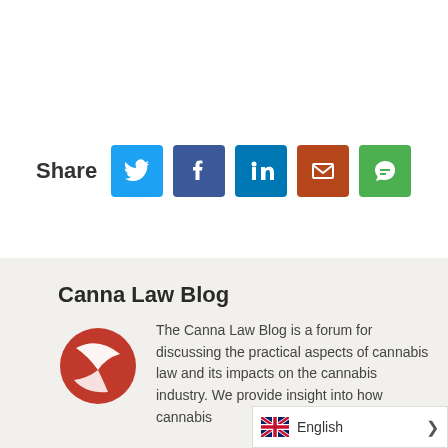Share
[Figure (infographic): Social share buttons: Twitter, Facebook, LinkedIn, Email, Chat]
Canna Law Blog
[Figure (logo): Canna Law Blog circular logo with red and white design]
The Canna Law Blog is a forum for discussing the practical aspects of cannabis law and its impacts on the cannabis industry. We provide insight into how cannabis...
English